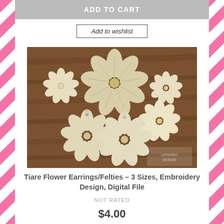ADD TO CART
Add to wishlist
[Figure (photo): Photo of cream/ivory flower-shaped earrings and felties in 3 sizes on a wooden background. Some have metal clasps attached.]
Tiare Flower Earrings/Felties – 3 Sizes, Embroidery Design, Digital File
NOT RATED
$4.00